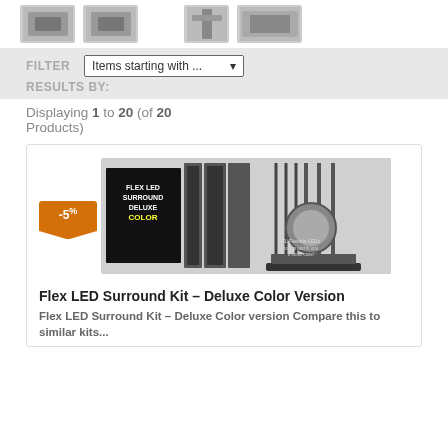[Figure (photo): Row of product images including Godox branded photography lights and accessories at the top of the page]
FILTER  Items starting with ...  RESULTS BY:
Displaying 1 to 20 (of 20 Products)
[Figure (photo): Flex LED Surround Kit Deluxe Color Version product image showing flexible LED panels, stands, and accessories. An orange -5% discount badge is visible on the lower left.]
Flex LED Surround Kit – Deluxe Color Version
Flex LED Surround Kit – Deluxe Color version Compare this to similar kits...